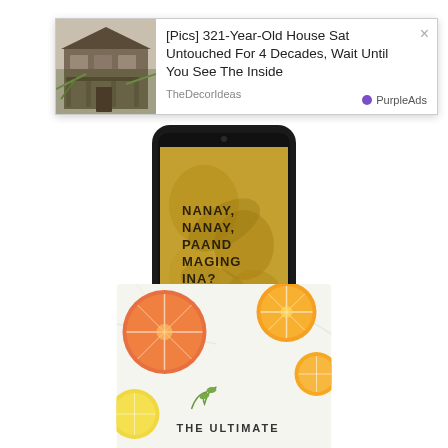[Figure (screenshot): Advertisement card overlay showing an old abandoned house photo on the left, with ad title text, source 'TheDecorIdeas', and 'PurpleAds' badge with close button]
[Figure (photo): Smartphone (iPhone-style) displaying a book cover with text 'NANAY, NANAY, PAAND MAGING INA?' on a golden/yellow floral background, with reflection below]
[Figure (photo): Partial book cover showing citrus fruit slices (orange, grapefruit) on white marble surface with text 'THE ULTIMATE' visible at bottom]